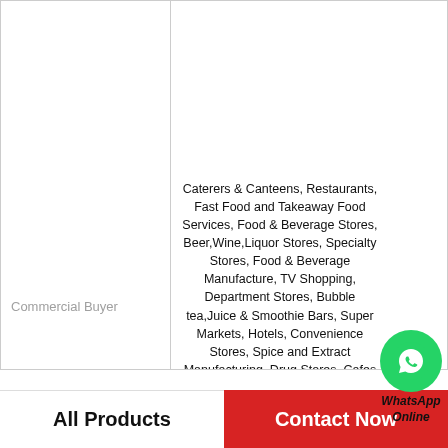|  |  |
| --- | --- |
| Commercial Buyer | Caterers & Canteens, Restaurants, Fast Food and Takeaway Food Services, Food & Beverage Stores, Beer,Wine,Liquor Stores, Specialty Stores, Food & Beverage Manufacture, TV Shopping, Department Stores, Bubble tea,Juice & Smoothie Bars, Super Markets, Hotels, Convenience Stores, Spice and Extract Manufacturing, Drug Stores, Cafes and Coffee Shops, Discount Stores, E-commerce Stores, Gifts Shops, Souvenir Stores |
| Occasion | Business Gifts, Travel, Party, Presents |
| Season | All-Season |
| Room Space | Kitchen |